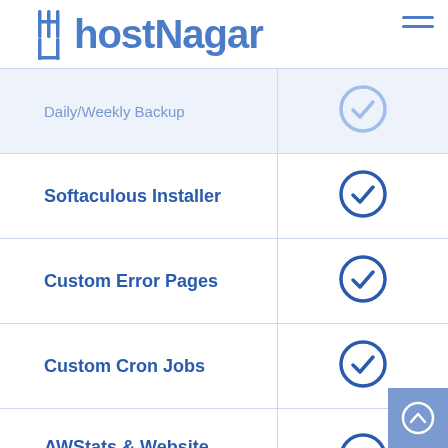HostNagar
| Feature | Included |
| --- | --- |
| Daily/Weekly Backup | ✓ |
| Softaculous Installer | ✓ |
| Custom Error Pages | ✓ |
| Custom Cron Jobs | ✓ |
| AWStats & Website Optimiser | ✓ |
| Web / FTP Stats | ✓ |